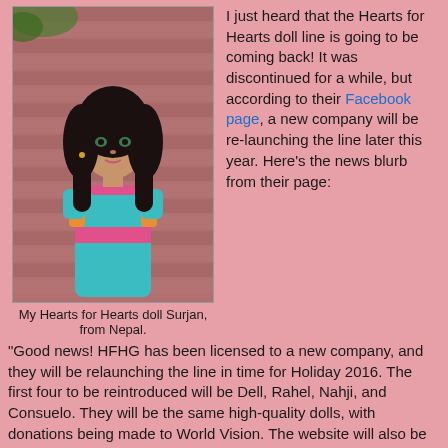[Figure (photo): A doll named Surjan from Nepal, wearing a teal blue dress with pink and orange accents, with long dark hair, posed against a brick wall background with greenery.]
My Hearts for Hearts doll Surjan, from Nepal.
I just heard that the Hearts for Hearts doll line is going to be coming back! It was discontinued for a while, but according to their Facebook page, a new company will be re-launching the line later this year. Here's the news blurb from their page:
"Good news! HFHG has been licensed to a new company, and they will be relaunching the line in time for Holiday 2016. The first four to be reintroduced will be Dell, Rahel, Nahji, and Consuelo. They will be the same high-quality dolls, with donations being made to World Vision. The website will also be coming back with stories, games and more. Exact sale date not yet available. Please stand by for more information."
I think a lot of people will be pretty happy about this. Thanks Jeanno, for letting me know about it.